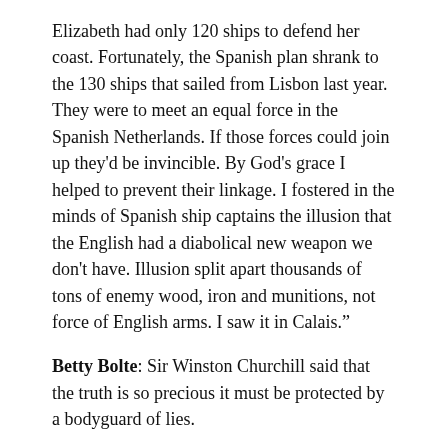Elizabeth had only 120 ships to defend her coast. Fortunately, the Spanish plan shrank to the 130 ships that sailed from Lisbon last year. They were to meet an equal force in the Spanish Netherlands. If those forces could join up they'd be invincible. By God's grace I helped to prevent their linkage. I fostered in the minds of Spanish ship captains the illusion that the English had a diabolical new weapon we don't have. Illusion split apart thousands of tons of enemy wood, iron and munitions, not force of English arms. I saw it in Calais."
Betty Bolte: Sir Winston Churchill said that the truth is so precious it must be protected by a bodyguard of lies.
Sir Edward Latham: I know nothing of Churchills. They're not a notable family like the Boltes. But the words make sense. The diabolical weapons we don't have are Hellburners. They're big ships with thousands of